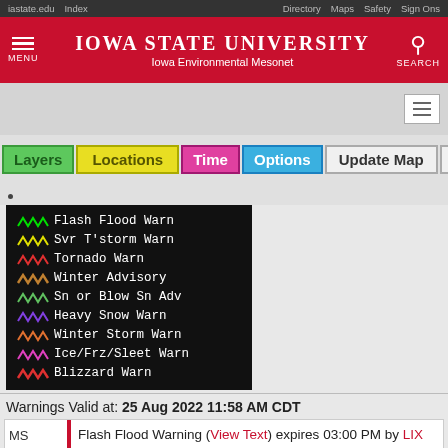iastate.edu  Index  Directory  Maps  Safety  Sign Ons
IOWA STATE UNIVERSITY Iowa Environmental Mesonet
[Figure (screenshot): Navigation buttons: Layers, Locations, Time, Options, Update Map, Auto]
[Figure (infographic): Weather warning legend: Flash Flood Warn, Svr T'storm Warn, Tornado Warn, Winter Advisory, Sn or Blow Sn Adv, Heavy Snow Warn, Winter Storm Warn, Ice/Frz/Sleet Warn, Blizzard Warn]
Warnings Valid at: 25 Aug 2022 11:58 AM CDT
MS Flash Flood Warning (View Text) expires 03:00 PM by LIX (DM) Harrison, in MS